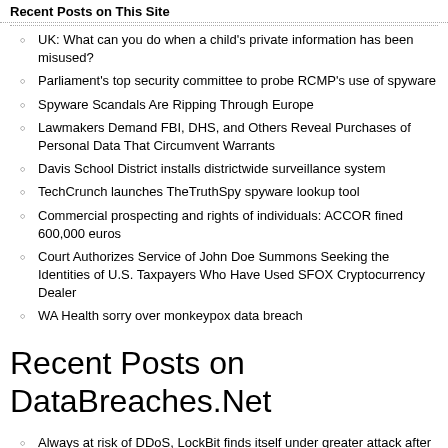Recent Posts on This Site
UK: What can you do when a child’s private information has been misused?
Parliament’s top security committee to probe RCMP’s use of spyware
Spyware Scandals Are Ripping Through Europe
Lawmakers Demand FBI, DHS, and Others Reveal Purchases of Personal Data That Circumvent Warrants
Davis School District installs districtwide surveillance system
TechCrunch launches TheTruthSpy spyware lookup tool
Commercial prospecting and rights of individuals: ACCOR fined 600,000 euros
Court Authorizes Service of John Doe Summons Seeking the Identities of U.S. Taxpayers Who Have Used SFOX Cryptocurrency Dealer
WA Health sorry over monkeypox data breach
Recent Posts on DataBreaches.Net
Always at risk of DDoS, LockBit finds itself under greater attack after announcing Entrust attack
How many breaches has Overlake Medical Center & Clinics experienced